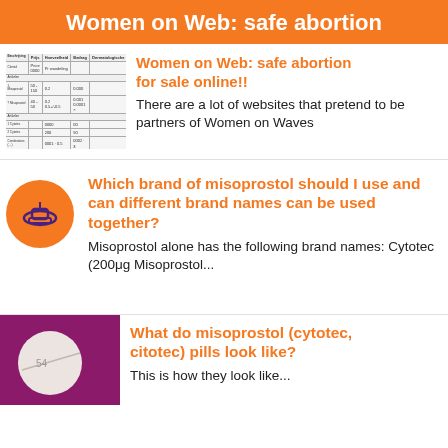Women on Web: safe abortion for sale online!!
[Figure (table-as-image): Small thumbnail of a table/document listing medication information]
Women on Web: safe abortion for sale online!!
There are a lot of websites that pretend to be partners of Women on Waves
[Figure (illustration): Orange circle icon with a boat/ship symbol in dark purple]
Which brand of misoprostol should I use and can different brand names can be used together?
Misoprostol alone has the following brand names: Cytotec (200μg Misoprostol...
[Figure (photo): White round pill on a pink/magenta background]
What do misoprostol (cytotec, citotec) pills look like?
This is how they look like...